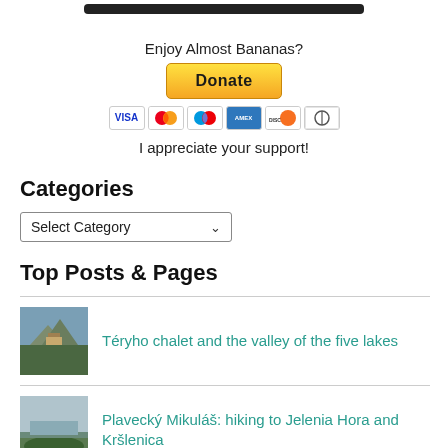[Figure (other): Top black bar/button partial cropped at top]
Enjoy Almost Bananas?
[Figure (other): Donate button (PayPal) with payment card icons below (VISA, Mastercard, Maestro, American Express, Discover, Diners)]
I appreciate your support!
Categories
[Figure (other): Select Category dropdown widget]
Top Posts & Pages
[Figure (photo): Mountain chalet thumbnail photo]
Téryho chalet and the valley of the five lakes
[Figure (photo): Landscape/hiking area thumbnail photo]
Plavecký Mikuláš: hiking to Jelenia Hora and Kršlenica